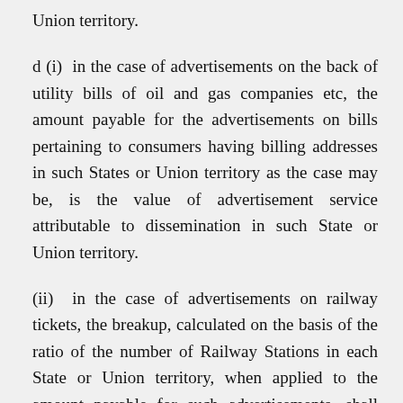Union territory.
d (i)  in the case of advertisements on the back of utility bills of oil and gas companies etc, the amount payable for the advertisements on bills pertaining to consumers having billing addresses in such States or Union territory as the case may be, is the value of advertisement service attributable to dissemination in such State or Union territory.
(ii)  in the case of advertisements on railway tickets, the breakup, calculated on the basis of the ratio of the number of Railway Stations in each State or Union territory, when applied to the amount payable for such advertisements, shall constitute the value of advertisement service attributable to the dissemination in such State or Union territory, as the case may be.